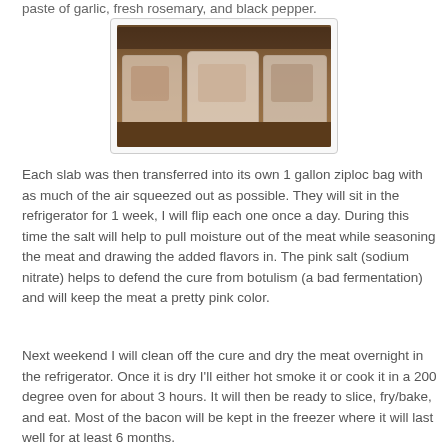paste of garlic, fresh rosemary, and black pepper.
[Figure (photo): Three pork belly slabs each sealed in individual clear plastic ziploc bags, placed on a wooden shelf. The bags contain seasoned meat visible through the plastic.]
Each slab was then transferred into its own 1 gallon ziploc bag with as much of the air squeezed out as possible. They will sit in the refrigerator for 1 week, I will flip each one once a day. During this time the salt will help to pull moisture out of the meat while seasoning the meat and drawing the added flavors in. The pink salt (sodium nitrate) helps to defend the cure from botulism (a bad fermentation) and will keep the meat a pretty pink color.
Next weekend I will clean off the cure and dry the meat overnight in the refrigerator. Once it is dry I'll either hot smoke it or cook it in a 200 degree oven for about 3 hours. It will then be ready to slice, fry/bake, and eat. Most of the bacon will be kept in the freezer where it will last well for at least 6 months.